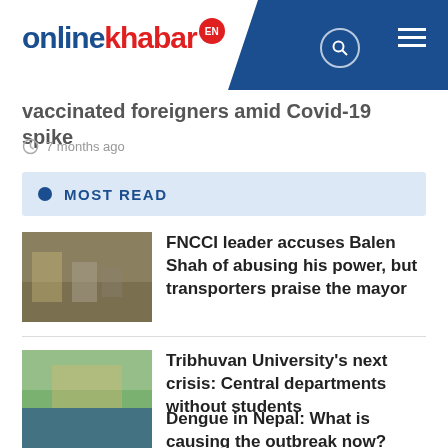onlinekhabar EN
vaccinated foreigners amid Covid-19 spike
7 months ago
MOST READ
FNCCI leader accuses Balen Shah of abusing his power, but transporters praise the mayor
Tribhuvan University's next crisis: Central departments without students
Dengue in Nepal: What is causing the outbreak now?